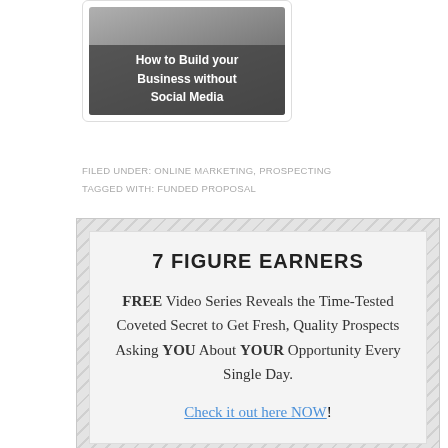[Figure (photo): Thumbnail image showing a laptop on a desk with semi-transparent dark overlay text reading 'How to Build your Business without Social Media']
FILED UNDER: ONLINE MARKETING, PROSPECTING
TAGGED WITH: FUNDED PROPOSAL
7 FIGURE EARNERS
FREE Video Series Reveals the Time-Tested Coveted Secret to Get Fresh, Quality Prospects Asking YOU About YOUR Opportunity Every Single Day.
Check it out here NOW!